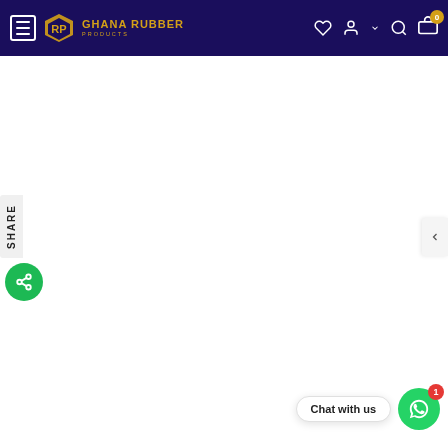[Figure (screenshot): Ghana Rubber Products e-commerce website header/navigation bar with dark navy background, logo, menu button, and icons for wishlist, account, search, and cart (showing 0 items). Below is a white product page area with a Share sidebar widget on the left, a navigation arrow on the right, and a WhatsApp 'Chat with us' widget in the bottom right corner.]
SHARE
Chat with us